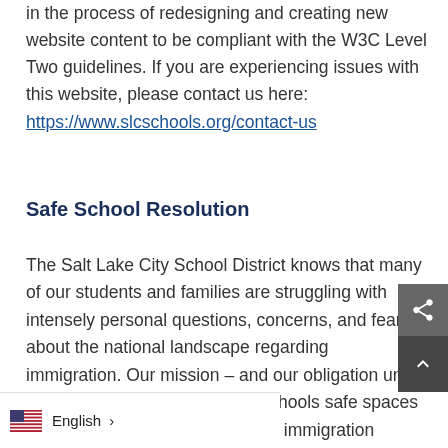in the process of redesigning and creating new website content to be compliant with the W3C Level Two guidelines. If you are experiencing issues with this website, please contact us here: https://www.slcschools.org/contact-us
Safe School Resolution
The Salt Lake City School District knows that many of our students and families are struggling with intensely personal questions, concerns, and fears about the national landscape regarding immigration. Our mission – and our obligation under the law – is to ensure that our schools safe spaces for learning, where all students – immigration status, race, ethnic